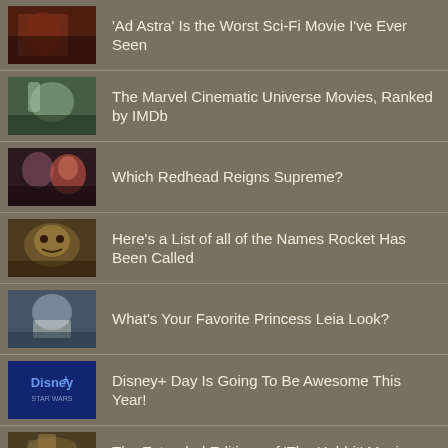'Ad Astra' Is the Worst Sci-Fi Movie I've Ever Seen
The Marvel Cinematic Universe Movies, Ranked by IMDb
Which Redhead Reigns Supreme?
Here's a List of all of the Names Rocket Has Been Called
What's Your Favorite Princess Leia Look?
Disney+ Day Is Going To Be Awesome This Year!
The Extended Editions of 'The Hobbit' Movies Are Actually Really Good